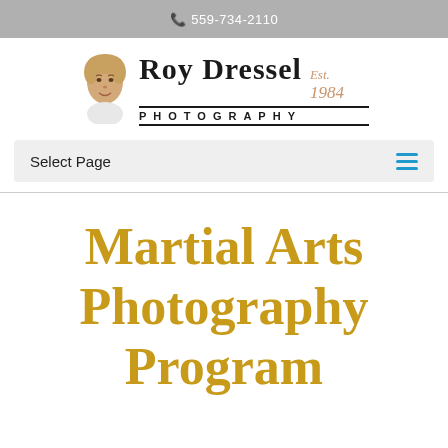📞 559-734-2110
[Figure (logo): Roy Dressel Photography logo with illustrated portrait of Roy Dressel and text 'Roy Dressel PHOTOGRAPHY Est. 1984']
Select Page
Martial Arts Photography Program